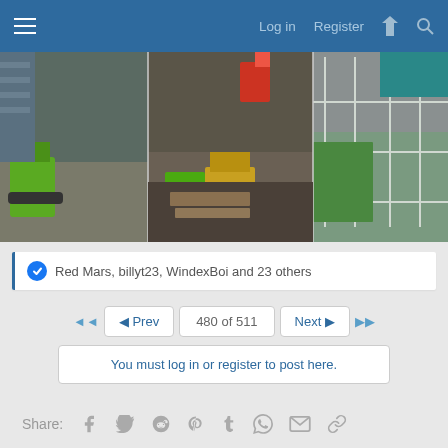Log in  Register
[Figure (photo): Aerial view of a large urban construction site with heavy machinery including green excavators, cranes, scaffolding, and building frameworks.]
Red Mars, billyt23, WindexBoi and 23 others
◄ Prev  480 of 511  Next ►
You must log in or register to post here.
Share: